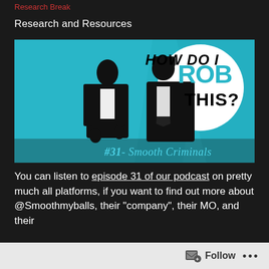Research Break
Research and Resources
[Figure (illustration): Podcast cover art for 'How Do I Rob This?' episode #31 - Smooth Criminals. Shows two men in black suits on a teal/blue background with a white circle graphic. Text reads 'HOW DO I ROB THIS? #31 - Smooth Criminals']
You can listen to episode 31 of our podcast on pretty much all platforms, if you want to find out more about @Smoothmyballs, their "company", their MO, and their
Follow ...